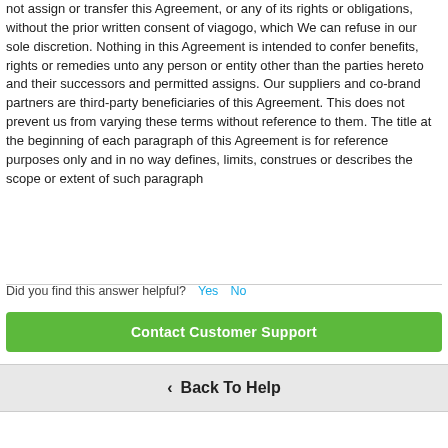not assign or transfer this Agreement, or any of its rights or obligations, without the prior written consent of viagogo, which We can refuse in our sole discretion. Nothing in this Agreement is intended to confer benefits, rights or remedies unto any person or entity other than the parties hereto and their successors and permitted assigns. Our suppliers and co-brand partners are third-party beneficiaries of this Agreement. This does not prevent us from varying these terms without reference to them. The title at the beginning of each paragraph of this Agreement is for reference purposes only and in no way defines, limits, construes or describes the scope or extent of such paragraph
Did you find this answer helpful?  Yes  No
Contact Customer Support
‹ Back To Help